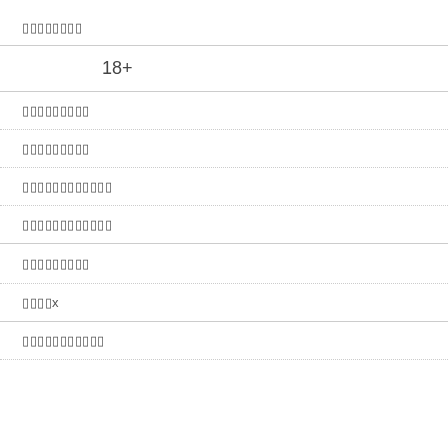▯▯▯▯▯▯▯▯
18+
▯▯▯▯▯▯▯▯▯
▯▯▯▯▯▯▯▯▯
▯▯▯▯▯▯▯▯▯▯▯▯
▯▯▯▯▯▯▯▯▯▯▯▯
▯▯▯▯▯▯▯▯▯
▯▯▯▯x
▯▯▯▯▯▯▯▯▯▯▯